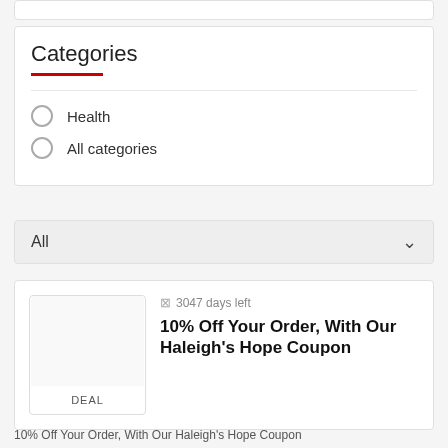Categories
Health
All categories
All
3047 days left
10% Off Your Order, With Our Haleigh's Hope Coupon
DEAL
10% Off Your Order, With Our Haleigh's Hope Coupon